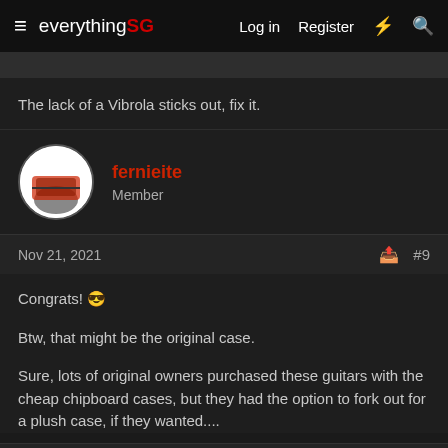everything SG | Log in | Register
The lack of a Vibrola sticks out, fix it.
fernieite
Member
Nov 21, 2021  #9
Congrats! 😎
Btw, that might be the original case.
Sure, lots of original owners purchased these guitars with the cheap chipboard cases, but they had the option to fork out for a plush case, if they wanted....
cerebral gasket